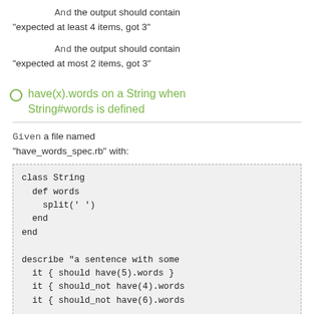And the output should contain "expected at least 4 items, got 3"
And the output should contain "expected at most 2 items, got 3"
have(x).words on a String when String#words is defined
Given a file named "have_words_spec.rb" with:
class String
  def words
    split(' ')
  end
end

describe "a sentence with some
  it { should have(5).words }
  it { should_not have(4).words
  it { should_not have(6).words

  it { should have_exactly(5).w